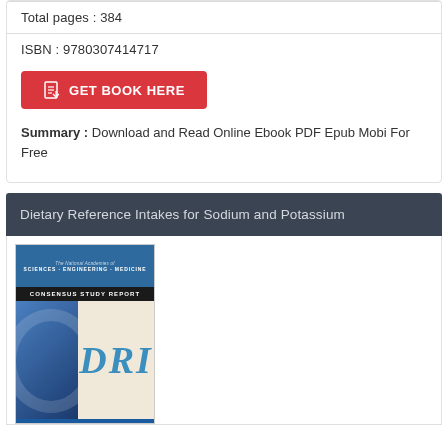Total pages : 384
ISBN : 9780307414717
GET BOOK HERE
Summary : Download and Read Online Ebook PDF Epub Mobi For Free
Dietary Reference Intakes for Sodium and Potassium
[Figure (photo): Book cover of 'Dietary Reference Intakes' (DRI) — a Consensus Study Report from the National Academies of Sciences, Engineering, Medicine. Cover features blue and cream design with large 'DRI' text and banner 'DIETARY REFERENCE INTAKES'.]